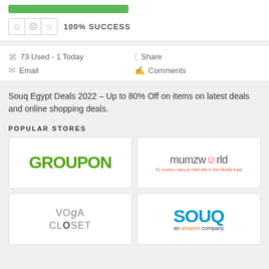[Figure (other): Green bar (coupon button placeholder)]
100% SUCCESS
73 Used - 1 Today
Share
Email
Comments
Souq Egypt Deals 2022 – Up to 80% Off on items on latest deals and online shopping deals.
POPULAR STORES
[Figure (logo): Groupon logo - green bold text]
[Figure (logo): mumzworld logo with tagline '#1 mother, baby & child site in the Middle East']
[Figure (logo): Yoga Closet / VogaCloset logo in grey]
[Figure (logo): SOUQ an amazon company logo in blue]